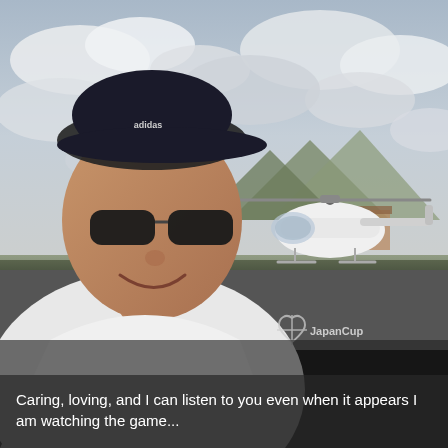[Figure (photo): A man wearing a dark Adidas cap and sunglasses smiling at the camera, dressed in a white t-shirt. In the background is a white helicopter on a tarmac with mountains and cloudy sky behind. A heart-shaped logo and text 'JapanCup' appear in the lower right area of the photo.]
Caring, loving, and I can listen to you even when it appears I am watching the game...